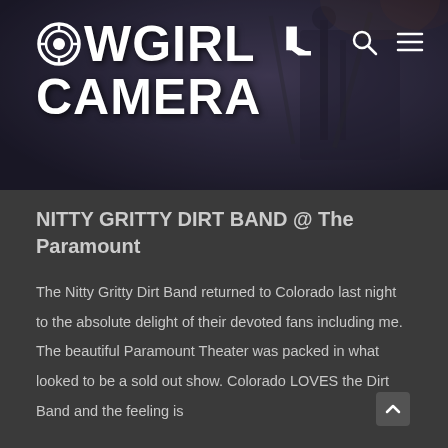[Figure (logo): Cowgirl Camera website header with logo text showing 'COWGIRL CAMERA' in large white bold letters with a camera lens icon replacing the 'O' in COWGIRL and a cowboy boot icon after COWGIRL. Background shows musicians performing. Search and hamburger menu icons in top right.]
NITTY GRITTY DIRT BAND @ The Paramount
The Nitty Gritty Dirt Band returned to Colorado last night to the absolute delight of their devoted fans including me. The beautiful Paramount Theater was packed in what looked to be a sold out show. Colorado LOVES the Dirt Band and the feeling is